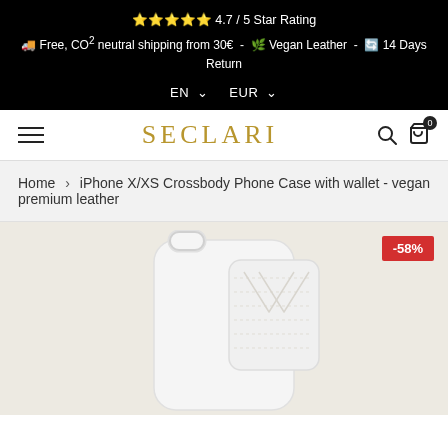⭐⭐⭐⭐⭐ 4.7 / 5 Star Rating  🚚 Free, CO² neutral shipping from 30€ - 🌿 Vegan Leather - 🔄 14 Days Return  EN ∨  EUR ∨
SECLARI
Home > iPhone X/XS Crossbody Phone Case with wallet - vegan premium leather
[Figure (photo): Product photo of white iPhone X/XS crossbody phone case with wallet in vegan premium leather on a cream background. A red discount badge showing -58% is visible in the top right corner.]